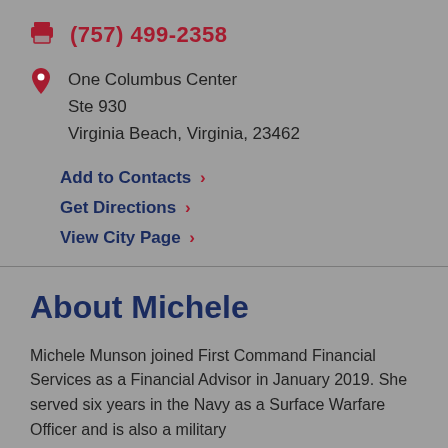(757) 499-2358
One Columbus Center
Ste 930
Virginia Beach, Virginia, 23462
Add to Contacts >
Get Directions >
View City Page >
About Michele
Michele Munson joined First Command Financial Services as a Financial Advisor in January 2019. She served six years in the Navy as a Surface Warfare Officer and is also a military